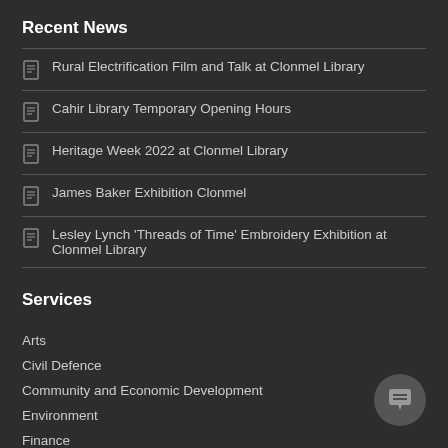Recent News
Rural Electrification Film and Talk at Clonmel Library
Cahir Library Temporary Opening Hours
Heritage Week 2022 at Clonmel Library
James Baker Exhibition Clonmel
Lesley Lynch 'Threads of Time' Embroidery Exhibition at Clonmel Library
Services
Arts
Civil Defence
Community and Economic Development
Environment
Finance
Fire Services
Heritage